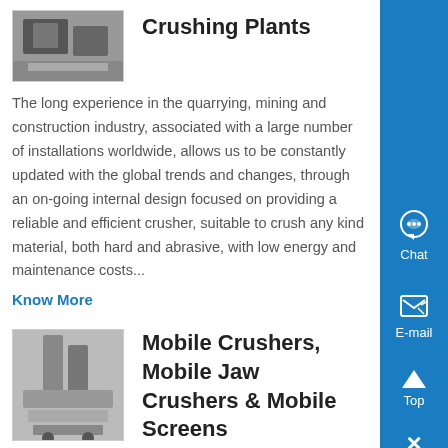[Figure (photo): Thumbnail image of crushing plant machinery]
Crushing Plants
The long experience in the quarrying, mining and construction industry, associated with a large number of installations worldwide, allows us to be constantly updated with the global trends and changes, through an on-going internal design focused on providing a reliable and efficient crusher, suitable to crush any kind material, both hard and abrasive, with low energy and maintenance costs...
Know More
[Figure (photo): Thumbnail image of mobile crusher / jaw crusher machinery]
Mobile Crushers, Mobile Jaw Crushers & Mobile Screens
Mobile jaw, cone and impact crushers We have a wide range of mobile equipment to make your job easier, no matter what you're crushing Our range of mobile jaw crushers is one of the most...